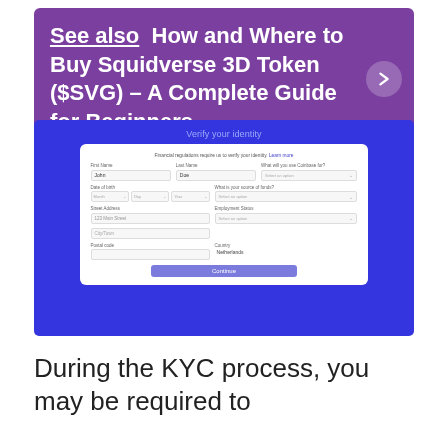See also  How and Where to Buy Squidverse 3D Token ($SVG) – A Complete Guide for Beginners
[Figure (screenshot): Screenshot of a KYC identity verification form on a blue background. The form has fields for First Name (John), Last Name (Doe), What will you use Coinbase for?, Date of birth (Month/Day/Year dropdowns), What is your source of funds?, Street Address (123 Main Street), Employment Status, City/Town, Country (Netherlands), Postal Code, and a Continue button.]
During the KYC process, you may be required to